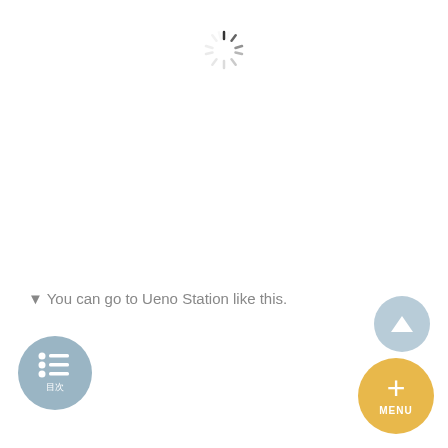[Figure (illustration): Loading spinner icon (circular dashed/spoked progress indicator) centered near the top of the page]
▼ You can go to Ueno Station like this.
[Figure (illustration): Up-arrow circular button (steel blue) in the bottom-right area]
[Figure (illustration): List/menu circular button (steel blue) with list icon and label '目次' in the bottom-left area]
[Figure (illustration): Plus/MENU circular button (golden yellow) with + icon and 'MENU' label in the bottom-right corner]